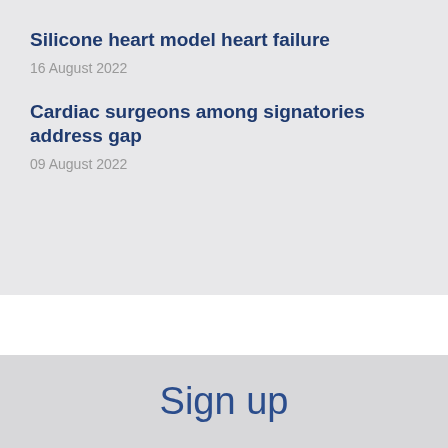Silicone heart model heart failure
16 August 2022
Cardiac surgeons among signatories address gap
09 August 2022
Sign up